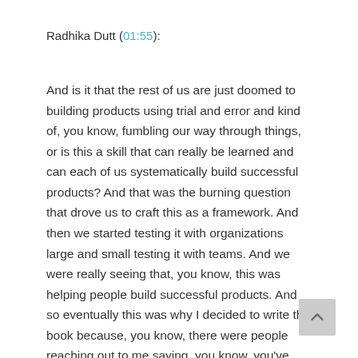Radhika Dutt (01:55):
And is it that the rest of us are just doomed to building products using trial and error and kind of, you know, fumbling our way through things, or is this a skill that can really be learned and can each of us systematically build successful products? And that was the burning question that drove us to craft this as a framework. And then we started testing it with organizations large and small testing it with teams. And we were really seeing that, you know, this was helping people build successful products. And so eventually this was why I decided to write the book because, you know, there were people reaching out to me saying, you know, you've created this toolkit, this framework. Can you show me an